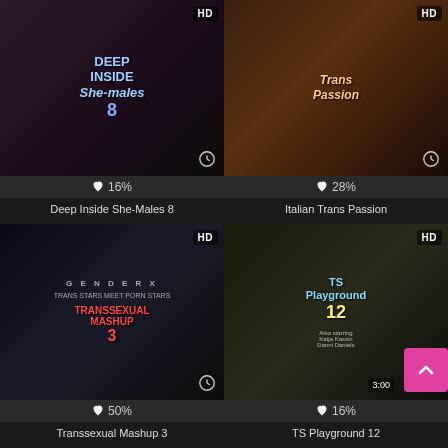[Figure (photo): Thumbnail for Deep Inside She-Males 8 with HD badge and clock icon, 16% like rating]
Deep Inside She-Males 8
[Figure (photo): Thumbnail for Italian Trans Passion with HD badge and clock icon, 28% like rating]
Italian Trans Passion
[Figure (photo): Thumbnail for Transsexual Mashup 3 with HD badge and clock icon, 50% like rating]
Transsexual Mashup 3
[Figure (photo): Thumbnail for TS Playground 12 with HD badge and duration 3:00, 16% like rating, pink back-to-top button overlay]
TS Playground 12